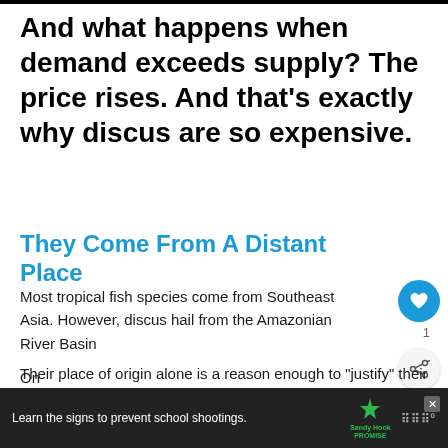And what happens when demand exceeds supply? The price rises. And that’s exactly why discus are so expensive.
They Come From A Distant Place
Most tropical fish species come from Southeast Asia. However, discus hail from the Amazonian River Basin
Their place of origin alone is a reason enough to “justify” their high price – at least, that’s what everyone thinks. Amazon is home to some of the rarest species available in the trade.
On
Learn the signs to prevent school shootings. Sandy Hook PROMISE